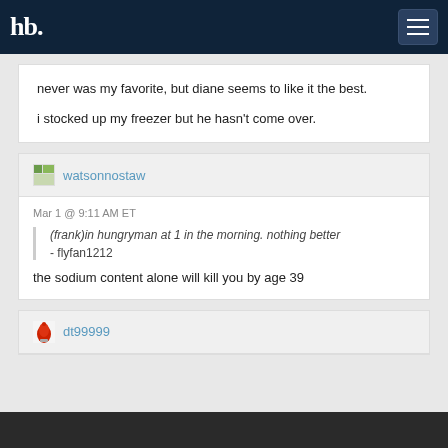hb [hamburger menu]
never was my favorite, but diane seems to like it the best.

i stocked up my freezer but he hasn't come over.
watsonnostaw
Mar 1 @ 9:11 AM ET
(frank)in hungryman at 1 in the morning. nothing better
- flyfan1212
the sodium content alone will kill you by age 39
dt99999